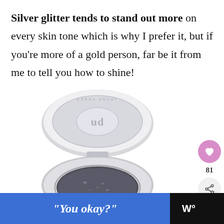Silver glitter tends to stand out more on every skin tone which is why I prefer it, but if you're more of a gold person, far be it from me to tell you how to shine!
[Figure (photo): Urban Decay eyeshadow compact with silver glitter product, white circular container with UD logo on lid, open showing dark silver glitter eyeshadow pan]
"You okay?"